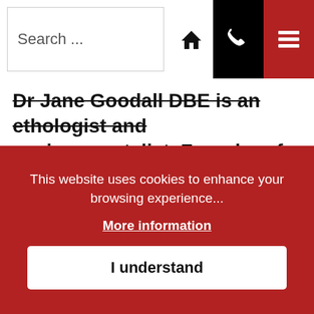Search ...
Dr Jane Goodall DBE is an ethologist and environmentalist, Founder of the Jane Goodall Institute and a UN Messenger of Peace. Her research into the lives of wild chimpanzees of Gombe, Tanzania began in 1960 and continues
This website uses cookies to enhance your browsing experience...
More information
I understand